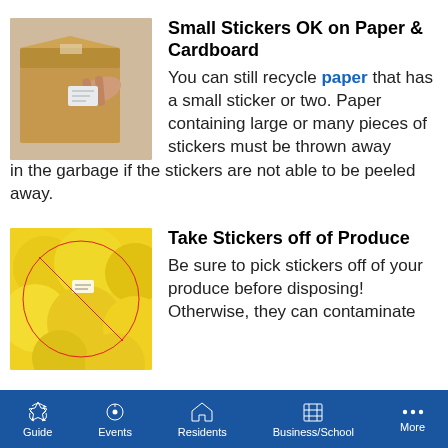[Figure (photo): Person peeling a sticker off a cardboard box]
Small Stickers OK on Paper & Cardboard
You can still recycle paper that has a small sticker or two. Paper containing large or many pieces of stickers must be thrown away in the garbage if the stickers are not able to be peeled away.
[Figure (photo): Yellow produce (grapefruits/lemons) with a red prohibition circle symbol overlaid]
Take Stickers off of Produce
Be sure to pick stickers off of your produce before disposing! Otherwise, they can contaminate
Guide | Events | Residents | Business/School | More